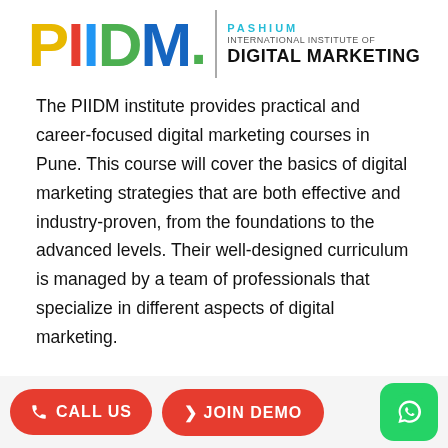[Figure (logo): PIIDM - Pashium International Institute of Digital Marketing logo with colorful letters P(yellow), I(red), I(blue), D(green), M(dark blue) and institute name text]
The PIIDM institute provides practical and career-focused digital marketing courses in Pune. This course will cover the basics of digital marketing strategies that are both effective and industry-proven, from the foundations to the advanced levels. Their well-designed curriculum is managed by a team of professionals that specialize in different aspects of digital marketing.
[Figure (infographic): Footer buttons: CALL US (red rounded button), JOIN DEMO (red rounded button), WhatsApp icon (green rounded square)]